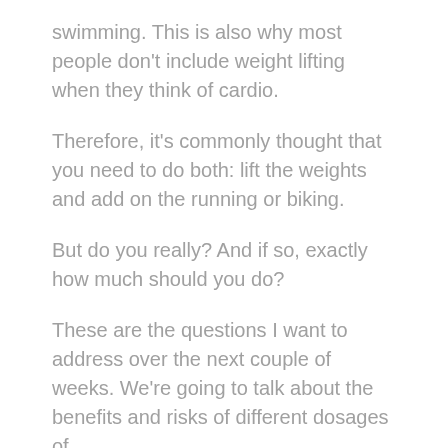swimming. This is also why most people don't include weight lifting when they think of cardio.
Therefore, it's commonly thought that you need to do both: lift the weights and add on the running or biking.
But do you really? And if so, exactly how much should you do?
These are the questions I want to address over the next couple of weeks. We're going to talk about the benefits and risks of different dosages of…